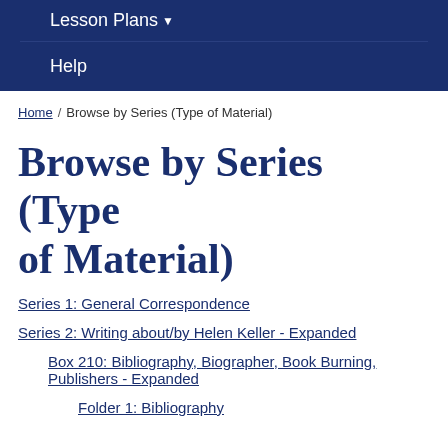Lesson Plans ▾
Help
Home / Browse by Series (Type of Material)
Browse by Series (Type of Material)
Series 1: General Correspondence
Series 2: Writing about/by Helen Keller - Expanded
Box 210: Bibliography, Biographer, Book Burning, Publishers - Expanded
Folder 1: Bibliography